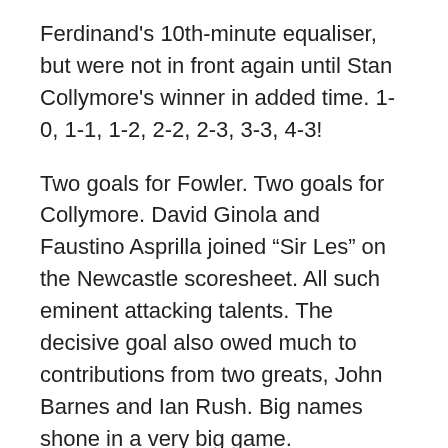Ferdinand's 10th-minute equaliser, but were not in front again until Stan Collymore's winner in added time. 1-0, 1-1, 1-2, 2-2, 2-3, 3-3, 4-3!
Two goals for Fowler. Two goals for Collymore. David Ginola and Faustino Asprilla joined “Sir Les” on the Newcastle scoresheet. All such eminent attacking talents. The decisive goal also owed much to contributions from two greats, John Barnes and Ian Rush. Big names shone in a very big game.
For me, the very best.
4. David Beckham scores from his own half